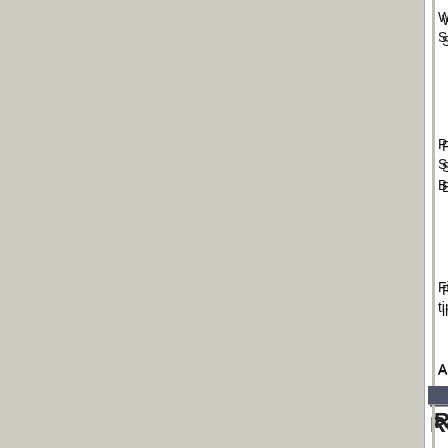With about 90 minutes before first pitch, Manager Jim Bowden, was on the phone, number to the Sports Authority's store, had one simple demand: "Give me the done fast."
Paul Schneider, a department manager, Cardozo asked for 40 of them and they the field. Schneider found about 20 on He talked his managers into donating car to cross the Wilson Bridge and wea
Fifteen minutes before the first pitch, Schneider arrived at the stadium duri Nationals' dugout in time for the team to
A nice gesture. Interestingly, Kasten was pre
Related Stories:
Atlanta Braves New Road Unif
Washington Nationals GM Jim
Washington Nationals Finally H
Cheney Booed at Nats Game
Kearns, Nationals agree to 3yr
Washington Nationals sale